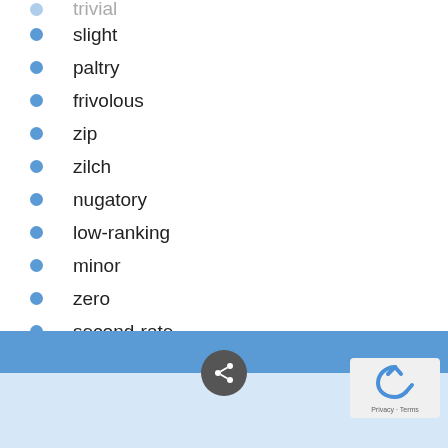trivial
slight
paltry
frivolous
zip
zilch
nugatory
low-ranking
minor
zero
second-rate
inconsiderable
indifferent
shoestring